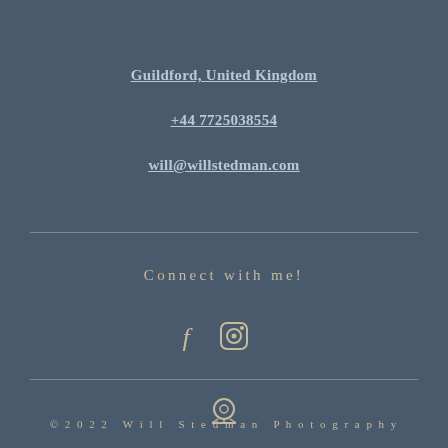Guildford, United Kingdom
+44 7725038554
will@willstedman.com
Connect with me!
[Figure (other): Facebook and Instagram social media icons]
[Figure (other): Camera/photography logo icon]
© 2 0 2 2  W i l l  S t e d m a n  P h o t o g r a p h y